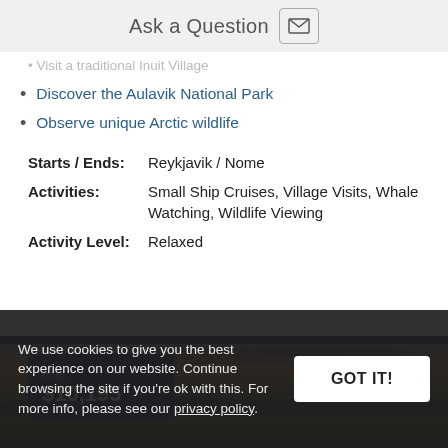Ask a Question
Visit a traditional Inuit Village
Discover the Aulavik National Park
Observe unique Arctic wildlife
Starts / Ends: Reykjavik / Nome
Activities: Small Ship Cruises, Village Visits, Whale Watching, Wildlife Viewing
Activity Level: Relaxed
Cruise Details →
[Figure (photo): Arctic tundra landscape with dramatic sky and reddish-orange terrain at dusk]
from $10,195
We use cookies to give you the best experience on our website. Continue browsing the site if you're ok with this. For more info, please see our privacy policy.